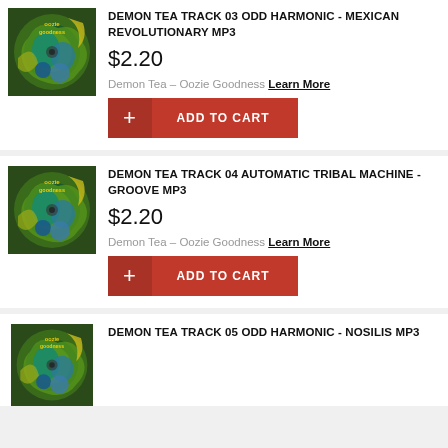[Figure (illustration): Album art for Demon Tea – Oozie Goodness, colorful psychedelic illustration with green and blue tones, text 'oozie goodness']
DEMON TEA TRACK 03 ODD HARMONIC - MEXICAN REVOLUTIONARY MP3
$2.20
Demon Tea – Oozie Goodness Learn More
+ ADD TO CART
[Figure (illustration): Album art for Demon Tea – Oozie Goodness, colorful psychedelic illustration with green and blue tones]
DEMON TEA TRACK 04 AUTOMATIC TRIBAL MACHINE - GROOVE MP3
$2.20
Demon Tea – Oozie Goodness Learn More
+ ADD TO CART
[Figure (illustration): Album art for Demon Tea – Oozie Goodness, colorful psychedelic illustration with green and blue tones]
DEMON TEA TRACK 05 ODD HARMONIC - NOSILIS MP3